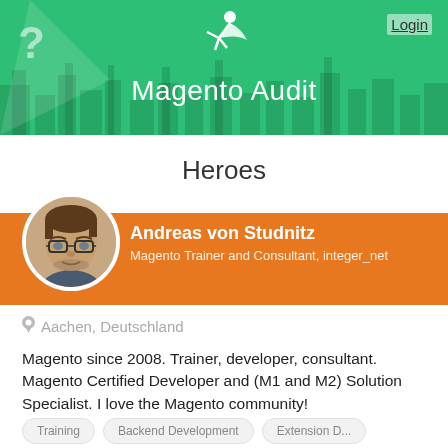Magento Audit
Heroes
Andreas von Studnitz
Magento Trainer and Consultant, integer_net
Aachen, Deutschland
Magento since 2008. Trainer, developer, consultant. Magento Certified Developer and (M1 and M2) Solution Specialist. I love the Magento community!